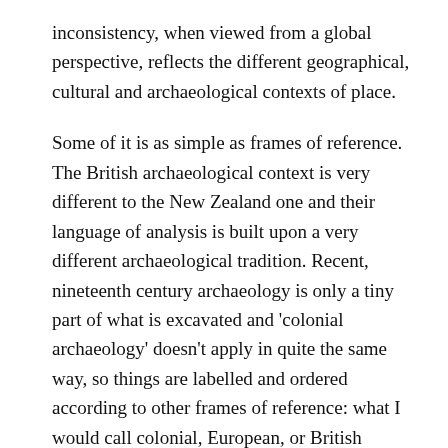inconsistency, when viewed from a global perspective, reflects the different geographical, cultural and archaeological contexts of place.
Some of it is as simple as frames of reference. The British archaeological context is very different to the New Zealand one and their language of analysis is built upon a very different archaeological tradition. Recent, nineteenth century archaeology is only a tiny part of what is excavated and 'colonial archaeology' doesn't apply in quite the same way, so things are labelled and ordered according to other frames of reference: what I would call colonial, European, or British ceramics in New Zealand are post-Roman or post-Medieval pottery in England. The system of archaeological data recording is structured differently,